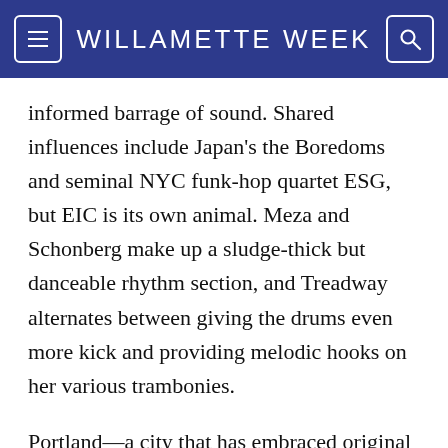WILLAMETTE WEEK
informed barrage of sound. Shared influences include Japan's the Boredoms and seminal NYC funk-hop quartet ESG, but EIC is its own animal. Meza and Schonberg make up a sludge-thick but danceable rhythm section, and Treadway alternates between giving the drums even more kick and providing melodic hooks on her various trambonies.
Portland—a city that has embraced original dance music with open arms over the past few years (see previous Best New Bands notables Starfucker and Copy)—has warmed to Explode Into Colors